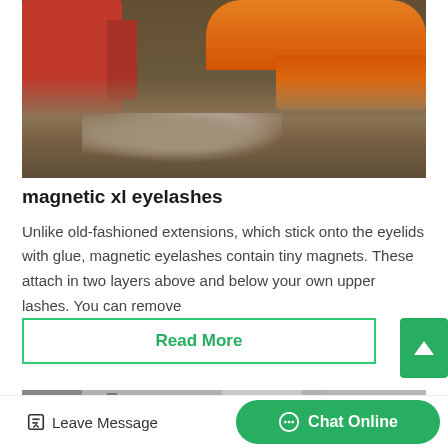[Figure (photo): Industrial mining or ore processing equipment scene with red machinery and orange cylindrical drums on left/top, with mounds of dirt and rocks in the foreground.]
magnetic xl eyelashes
Unlike old-fashioned extensions, which stick onto the eyelids with glue, magnetic eyelashes contain tiny magnets. These attach in two layers above and below your own upper lashes. You can remove
Read More
[Figure (photo): Second article image, partially visible at the bottom of the page.]
Leave Message
Chat Online